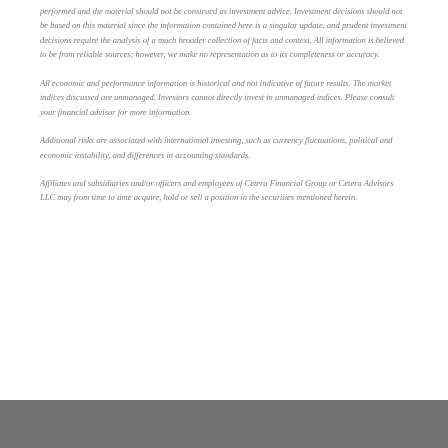performed and the material should not be construed as investment advice. Investment decisions should not be based on this material since the information contained here is a singular update, and prudent investment decisions require the analysis of a much broader collection of facts and context. All information is believed to be from reliable sources; however, we make no representation as to its completeness or accuracy.
All economic and performance information is historical and not indicative of future results. The market indices discussed are unmanaged. Investors cannot directly invest in unmanaged indices. Please consult your financial advisor for more information.
Additional risks are associated with international investing, such as currency fluctuations, political and economic instability, and differences in accounting standards.
Affiliates and subsidiaries and/or officers and employees of Cetera Financial Group or Cetera Advisors LLC may from time to time acquire, hold or sell a position in the securities mentioned herein.